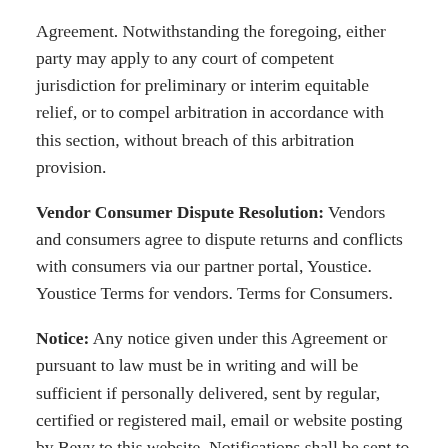Agreement. Notwithstanding the foregoing, either party may apply to any court of competent jurisdiction for preliminary or interim equitable relief, or to compel arbitration in accordance with this section, without breach of this arbitration provision.
Vendor Consumer Dispute Resolution: Vendors and consumers agree to dispute returns and conflicts with consumers via our partner portal, Youstice. Youstice Terms for vendors. Terms for Consumers.
Notice: Any notice given under this Agreement or pursuant to law must be in writing and will be sufficient if personally delivered, sent by regular, certified or registered mail, email or website posting by Bevv to this website. Notifications shall be sent to the physical or email address of record for Customer or, if to Bevv, to 16192 Coastal Hwy, Lewes, DE 19958 for info@bevv.com. Notice deposited in the mail in